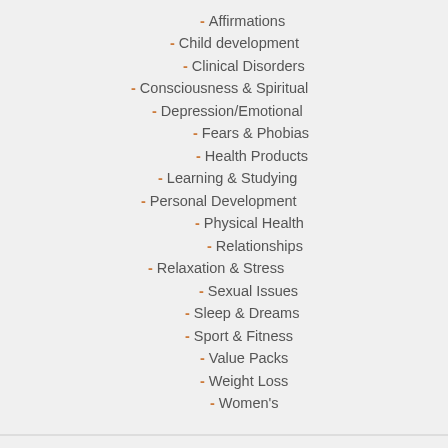Affirmations
Child development
Clinical Disorders
Consciousness & Spiritual
Depression/Emotional
Fears & Phobias
Health Products
Learning & Studying
Personal Development
Physical Health
Relationships
Relaxation & Stress
Sexual Issues
Sleep & Dreams
Sport & Fitness
Value Packs
Weight Loss
Women's
AUTHORS/BRANDS